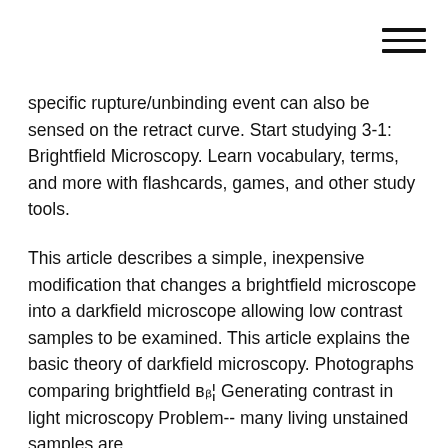≡
specific rupture/unbinding event can also be sensed on the retract curve. Start studying 3-1: Brightfield Microscopy. Learn vocabulary, terms, and more with flashcards, games, and other study tools.
This article describes a simple, inexpensive modification that changes a brightfield microscope into a darkfield microscope allowing low contrast samples to be examined. This article explains the basic theory of darkfield microscopy. Photographs comparing brightfield в ᵦ¦ Generating contrast in light microscopy Problem-- many living unstained samples are